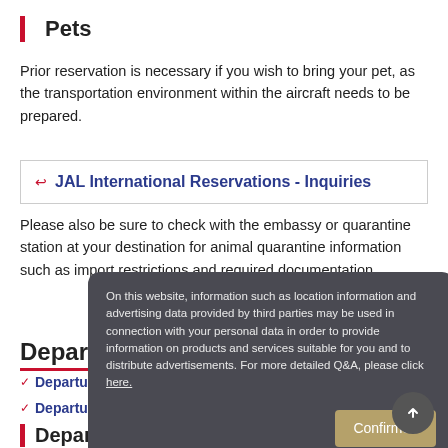Pets
Prior reservation is necessary if you wish to bring your pet, as the transportation environment within the aircraft needs to be prepared.
JAL International Reservations - Inquiries
Please also be sure to check with the embassy or quarantine station at your destination for animal quarantine information such as import restrictions and required documentation.
Departure
Departure flow
Layout
Departure regulations
On this website, information such as location information and advertising data provided by third parties may be used in connection with your personal data in order to provide information on products and services suitable for you and to distribute advertisements. For more detailed Q&A, please click here.
Departure flow